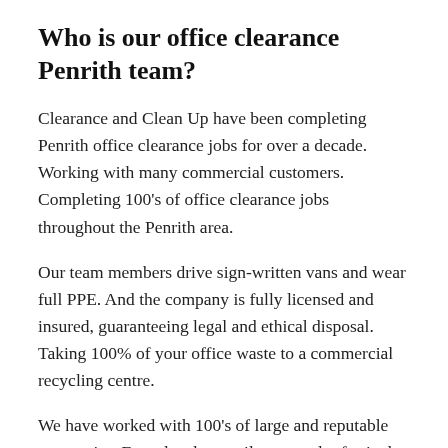Who is our office clearance Penrith team?
Clearance and Clean Up have been completing Penrith office clearance jobs for over a decade. Working with many commercial customers. Completing 100's of office clearance jobs throughout the Penrith area.
Our team members drive sign-written vans and wear full PPE. And the company is fully licensed and insured, guaranteeing legal and ethical disposal. Taking 100% of your office waste to a commercial recycling centre.
We have worked with 100's of large and reputable companies. From local councils to popular festivals and world-leading fast-food franchises. Clearing 1000's of